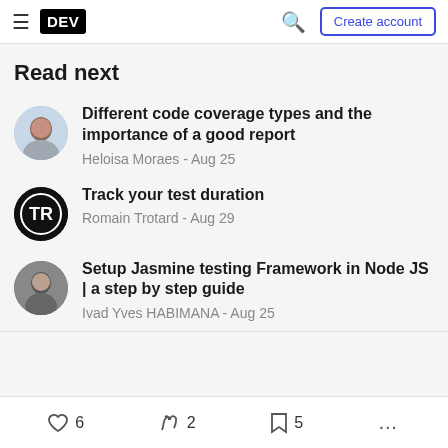DEV — Create account
Read next
Different code coverage types and the importance of a good report
Heloisa Moraes - Aug 25
Track your test duration
Romain Trotard - Aug 29
Setup Jasmine testing Framework in Node JS | a step by step guide
Ivad Yves HABIMANA - Aug 25
6  2  5  ...